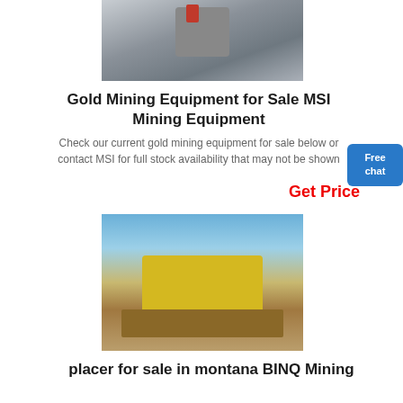[Figure (photo): Industrial mining equipment/machinery with red cylindrical components, photographed indoors]
Gold Mining Equipment for Sale MSI Mining Equipment
Check our current gold mining equipment for sale below or contact MSI for full stock availability that may not be shown
Get Price
[Figure (photo): Large yellow and green gold mining/placer equipment on an open outdoor site with blue sky background]
placer for sale in montana BINQ Mining